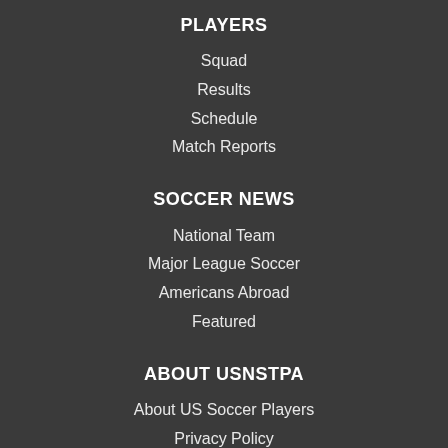PLAYERS
Squad
Results
Schedule
Match Reports
SOCCER NEWS
National Team
Major League Soccer
Americans Abroad
Featured
ABOUT USNSTPA
About US Soccer Players
Privacy Policy